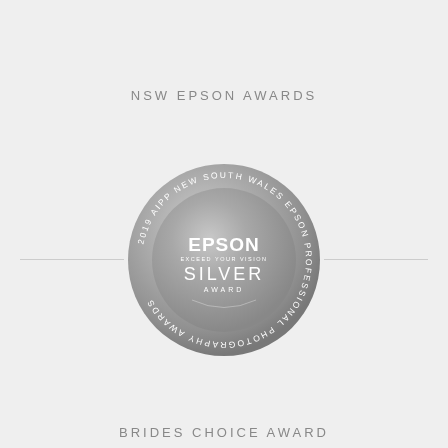NSW EPSON AWARDS
[Figure (illustration): Silver circular medal/badge for 2019 AIPP New South Wales Epson Professional Photography Awards. The medal shows the Epson logo with 'EXCEED YOUR VISION' tagline, and 'SILVER AWARD' text in the center. Around the rim reads '2019 AIPP NEW SOUTH WALES EPSON PROFESSIONAL PHOTOGRAPHY AWARDS'.]
BRIDES CHOICE AWARD